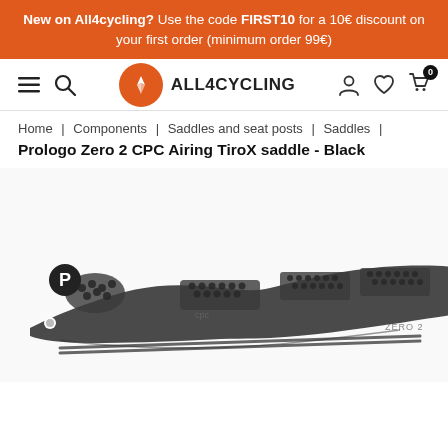New on All4cycling? Use the code FIRST10 for a 10€ discount on your first order (minimum order 99€)
[Figure (logo): All4cycling navigation bar with hamburger menu, search icon, orange circular logo with A symbol, ALL4CYCLING brand text, user/wishlist/cart icons with 0 badge]
Home | Components | Saddles and seat posts | Saddles |
Prologo Zero 2 CPC Airing TiroX saddle - Black
[Figure (photo): Black Prologo Zero 2 CPC Airing TiroX bicycle saddle shown from a side-profile angle. The saddle is dark grey/black with distinctive CPC (Circular Pressure Control) honeycomb-textured grip zones on the top surface. The saddle features a narrow, elongated shape typical of road cycling saddles. The Prologo brand logo and 'Zero 2' model name are visible on the saddle.]